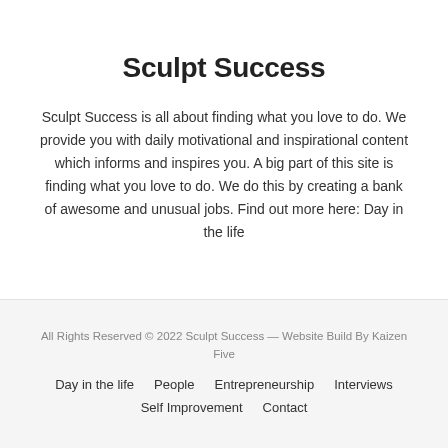Sculpt Success
Sculpt Success is all about finding what you love to do. We provide you with daily motivational and inspirational content which informs and inspires you. A big part of this site is finding what you love to do. We do this by creating a bank of awesome and unusual jobs. Find out more here: Day in the life
All Rights Reserved © 2022 Sculpt Success — Website Build By Kaizen Five
Day in the life   People   Entrepreneurship   Interviews   Self Improvement   Contact